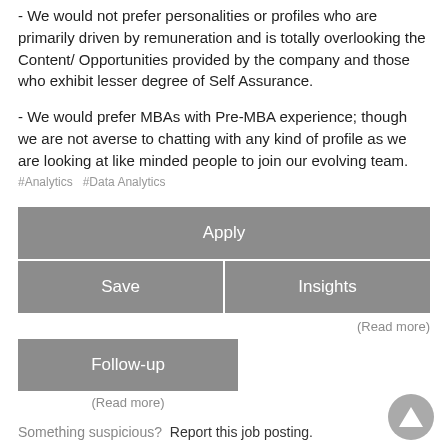- We would not prefer personalities or profiles who are primarily driven by remuneration and is totally overlooking the Content/Opportunities provided by the company and those who exhibit lesser degree of Self Assurance.
- We would prefer MBAs with Pre-MBA experience; though we are not averse to chatting with any kind of profile as we are looking at like minded people to join our evolving team.
#Analytics  #Data Analytics
Apply
Save
Insights
(Read more)
Follow-up
(Read more)
Something suspicious?  Report this job posting.